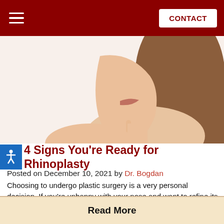CONTACT
[Figure (photo): Side profile of a woman with brown hair touching her chin, white background]
4 Signs You're Ready for Rhinoplasty
Posted on December 10, 2021 by Dr. Bogdan
Choosing to undergo plastic surgery is a very personal decision. If you're unhappy with your nose and want to refine its shape, then rhinoplasty surgery may be right for you. The vast majority of rhinoplasty patients at our Fort Worth, TX, practice are thrilled with the results, many wishing they hadn't waited so long to[.....]
Read More